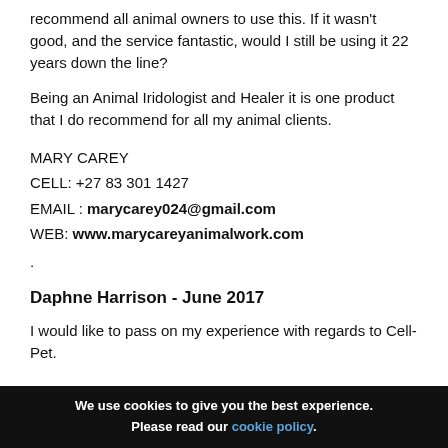recommend all animal owners to use this. If it wasn't good, and the service fantastic, would I still be using it 22 years down the line?
Being an Animal Iridologist and Healer it is one product that I do recommend for all my animal clients.
MARY CAREY
CELL: +27 83 301 1427
EMAIL : marycarey024@gmail.com
WEB: www.marycareyanimalwork.com
.
Daphne Harrison - June 2017
I would like to pass on my experience with regards to Cell-Pet.
We use cookies to give you the best experience. Please read our cookie policy.